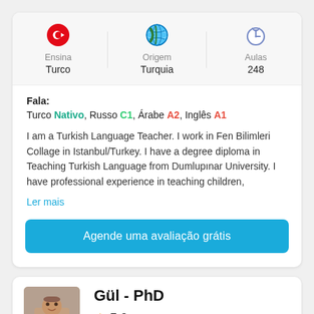[Figure (infographic): Stats row with three columns: Ensina (Turkish flag icon) Turco, Origem (globe icon) Turquia, Aulas (stopwatch icon) 248]
Fala:
Turco Nativo, Russo C1, Árabe A2, Inglês A1
I am a Turkish Language Teacher. I work in Fen Bilimleri Collage in Istanbul/Turkey. I have a degree diploma in Teaching Turkish Language from Dumlupınar University. I have professional experience in teaching children,
Ler mais
Agende uma avaliação grátis
Gül - PhD
5.0